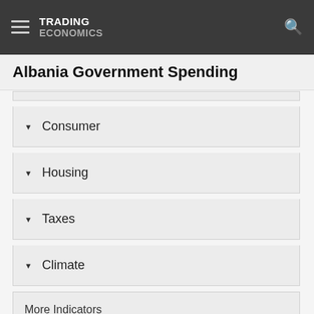TRADING ECONOMICS
Albania Government Spending
Consumer
Housing
Taxes
Climate
More Indicators
National Statistics
World Bank